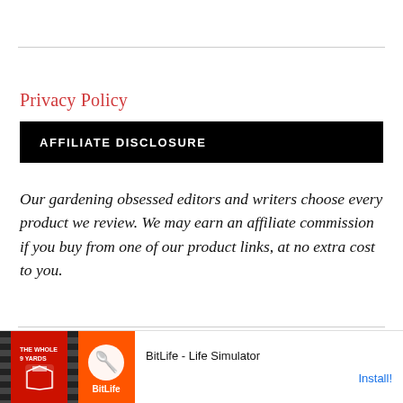Privacy Policy
AFFILIATE DISCLOSURE
Our gardening obsessed editors and writers choose every product we review. We may earn an affiliate commission if you buy from one of our product links, at no extra cost to you.
GARDENING CHANNEL. COPYRIGHT © 2022. ALL RIGHTS
[Figure (other): Advertisement banner for BitLife - Life Simulator app, showing ad label, a red and orange sports-themed image on left, and BitLife logo with Install button on right.]